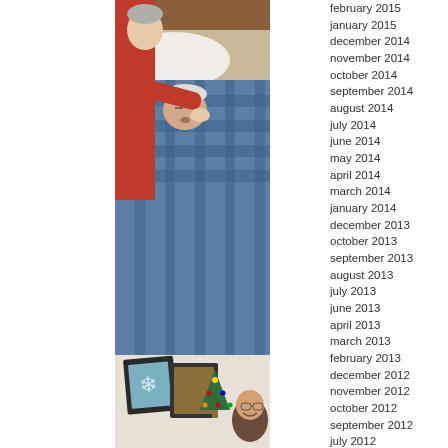[Figure (photo): Top photo: an elderly person lying in bed covered with a blue plaid blanket, another person in red helping them, white pillow visible]
[Figure (photo): Bottom photo: a person smiling in a room with framed pictures on the wall and a decorated Christmas tree]
february 2015
january 2015
december 2014
november 2014
october 2014
september 2014
august 2014
july 2014
june 2014
may 2014
april 2014
march 2014
january 2014
december 2013
october 2013
september 2013
august 2013
july 2013
june 2013
april 2013
march 2013
february 2013
december 2012
november 2012
october 2012
september 2012
july 2012
june 2012
may 2012
april 2012
march 2012
january 2012